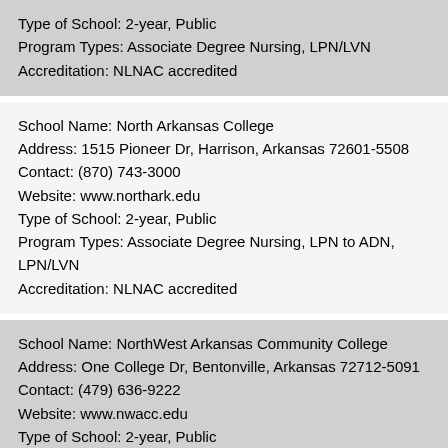Type of School: 2-year, Public
Program Types: Associate Degree Nursing, LPN/LVN
Accreditation: NLNAC accredited
School Name: North Arkansas College
Address: 1515 Pioneer Dr, Harrison, Arkansas 72601-5508
Contact: (870) 743-3000
Website: www.northark.edu
Type of School: 2-year, Public
Program Types: Associate Degree Nursing, LPN to ADN, LPN/LVN
Accreditation: NLNAC accredited
School Name: NorthWest Arkansas Community College
Address: One College Dr, Bentonville, Arkansas 72712-5091
Contact: (479) 636-9222
Website: www.nwacc.edu
Type of School: 2-year, Public
Program Types: Associate Degree Nursing, LPN to ADN
Accreditation: N/A
School Name: Northeast Technical Me...